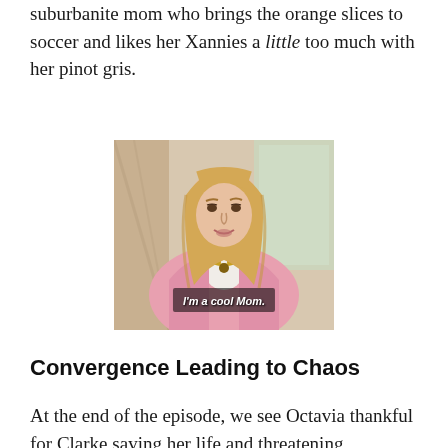suburbanite mom who brings the orange slices to soccer and likes her Xannies a little too much with her pinot gris.
[Figure (photo): Still from Mean Girls showing a woman in a pink cardigan with blonde hair and a gold necklace, with subtitle text reading "I'm a cool Mom."]
Convergence Leading to Chaos
At the end of the episode, we see Octavia thankful for Clarke saving her life and threatening Bellamy's, and the